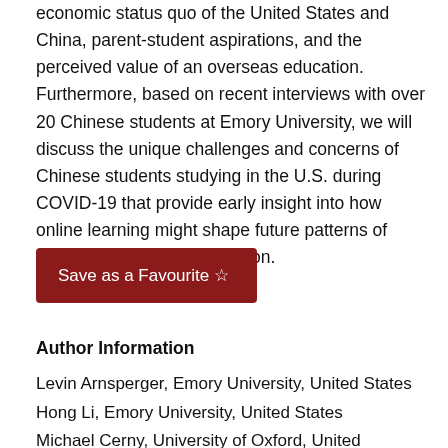economic status quo of the United States and China, parent-student aspirations, and the perceived value of an overseas education. Furthermore, based on recent interviews with over 20 Chinese students at Emory University, we will discuss the unique challenges and concerns of Chinese students studying in the U.S. during COVID-19 that provide early insight into how online learning might shape future patterns of international student migration.
[Figure (other): Dark red button labeled 'Save as a Favourite ☆']
Author Information
Levin Arnsperger, Emory University, United States
Hong Li, Emory University, United States
Michael Cerny, University of Oxford, United Kingdom
Paper Information
Conference: ECE2021